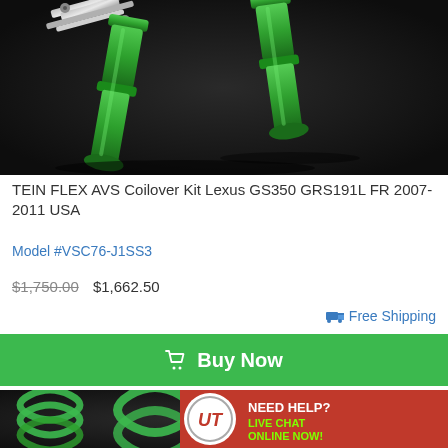[Figure (photo): Photo of green TEIN FLEX AVS coilover kit components on dark background]
TEIN FLEX AVS Coilover Kit Lexus GS350 GRS191L FR 2007-2011 USA
Model #VSC76-J1SS3
$1,750.00  $1,662.50
Free Shipping
Buy Now
[Figure (photo): Photo of green coilover springs and components with Need Help? Live Chat Online Now! banner overlay]